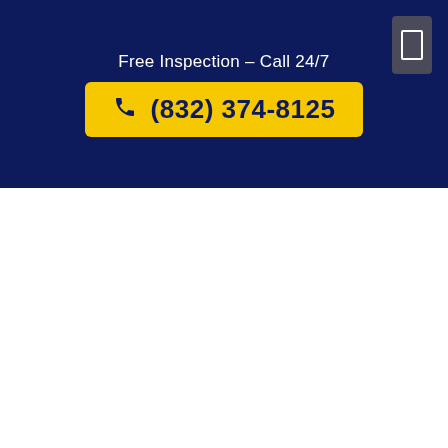Free Inspection – Call 24/7
(832) 374-8125
[Figure (other): Hamburger menu button icon in dark gray/slate square in upper right corner of navigation bar]